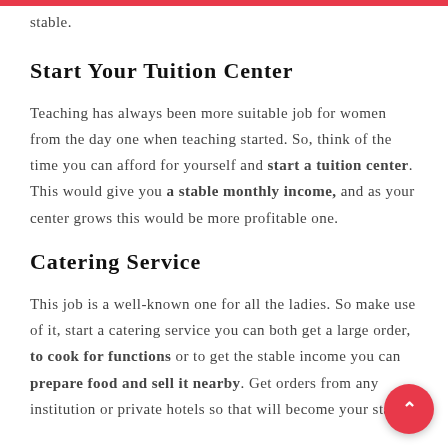stable.
Start Your Tuition Center
Teaching has always been more suitable job for women from the day one when teaching started. So, think of the time you can afford for yourself and start a tuition center. This would give you a stable monthly income, and as your center grows this would be more profitable one.
Catering Service
This job is a well-known one for all the ladies. So make use of it, start a catering service you can both get a large order, to cook for functions or to get the stable income you can prepare food and sell it nearby. Get orders from any institution or private hotels so that will become your stable